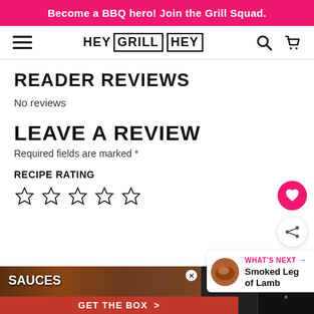Become a BBQ hero! Join the Grill Squad.
[Figure (logo): Hey Grill Hey logo with hamburger menu, search and cart icons]
READER REVIEWS
No reviews
LEAVE A REVIEW
Required fields are marked *
RECIPE RATING
[Figure (other): Five empty star rating icons]
[Figure (other): Heart (favorite) button and share button floating on right side]
[Figure (other): What's Next panel showing Smoked Leg of Lamb with thumbnail]
[Figure (other): Bottom advertisement bar: SAUCES with food images, GET THE BOX button, close X button]